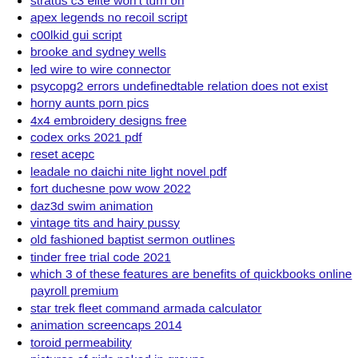stratus c3 elite won't turn on
apex legends no recoil script
c00lkid gui script
brooke and sydney wells
led wire to wire connector
psycopg2 errors undefinedtable relation does not exist
horny aunts porn pics
4x4 embroidery designs free
codex orks 2021 pdf
reset acepc
leadale no daichi nite light novel pdf
fort duchesne pow wow 2022
daz3d swim animation
vintage tits and hairy pussy
old fashioned baptist sermon outlines
tinder free trial code 2021
which 3 of these features are benefits of quickbooks online payroll premium
star trek fleet command armada calculator
animation screencaps 2014
toroid permeability
pictures of girls naked in groups
shrm membership renewal
beretta 1301 comp pro magazine capacity
ahegao text art